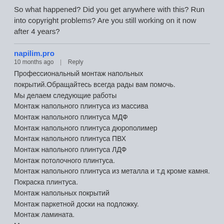So what happened? Did you get anywhere with this? Run into copyright problems? Are you still working on it now after 4 years?
napilim.pro
10 months ago  |  Reply
Профессиональный монтаж напольных покрытий.Обращайтесь всегда рады вам помочь.
Мы делаем следующие работы
Монтаж напольного плинтуса из массива
Монтаж напольного плинтуса МДФ
Монтаж напольного плинтуса дюрополимер
Монтаж напольного плинтуса ПВХ
Монтаж напольного плинтуса ЛДФ
Монтаж потолочного плинтуса.
Монтаж напольного плинтуса из металла и т.д кроме камня.
Покраска плинтуса.
Монтаж напольных покрытий
Монтаж паркетной доски на подложку.
Монтаж ламината.
Монтаж винилового ламината